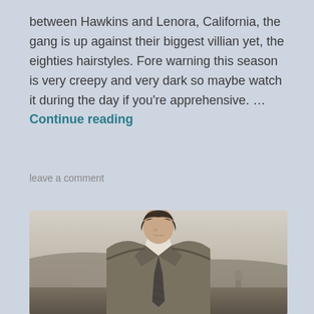between Hawkins and Lenora, California, the gang is up against their biggest villian yet, the eighties hairstyles. Fore warning this season is very creepy and very dark so maybe watch it during the day if you're apprehensive. … Continue reading
leave a comment
[Figure (photo): A young man with dark wavy hair wearing a tan/khaki suit jacket and dark tie, looking downward or to the side. He is outdoors with a blurry landscape/hills in the background. Another figure is faintly visible behind him in the distance.]